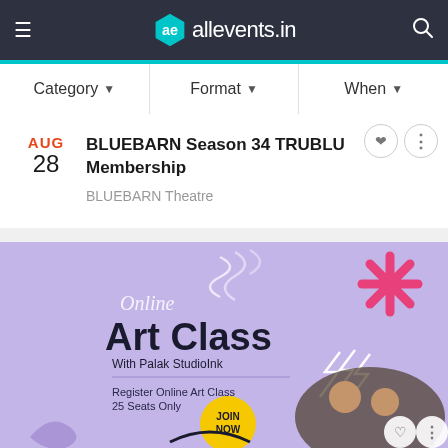allevents.in
Category ▾   Format ▾   When ▾
AUG 28  BLUEBARN Season 34 TRUBLU Membership  BLUEBARN Theatre
[Figure (photo): Online Art Class with Palak StudioInk promotional banner on purple background with children painting, JOIN NOW button, and decorative elements]